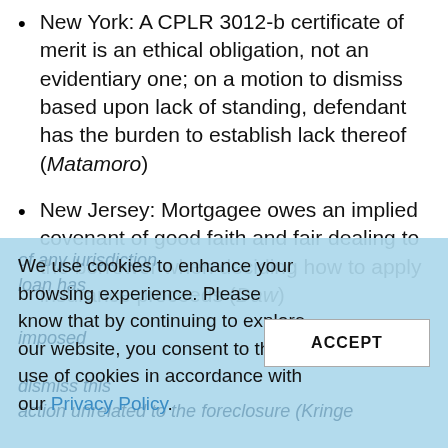New York: A CPLR 3012-b certificate of merit is an ethical obligation, not an evidentiary one; on a motion to dismiss based upon lack of standing, defendant has the burden to establish lack thereof (Matamoro)
New Jersey: Mortgagee owes an implied covenant of good faith and fair dealing to the borrower when deciding how to apply insurance proceeds (Daw)
We use cookies to enhance your browsing experience. Please know that by continuing to explore our website, you consent to the use of cookies in accordance with our Privacy Policy.